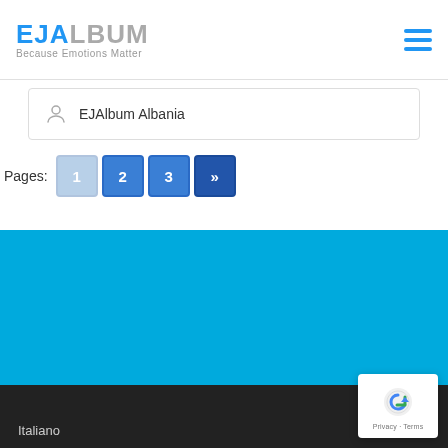EJALBUM Because Emotions Matter
EJAlbum Albania
Pages: 1 2 3 »
[Figure (other): Blue background section]
Italiano
[Figure (other): reCAPTCHA badge with Privacy · Terms]